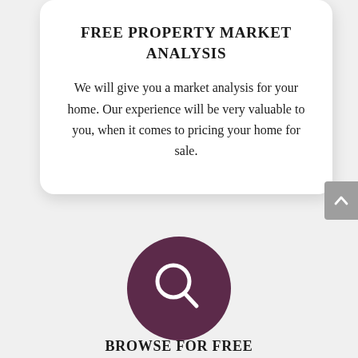FREE PROPERTY MARKET ANALYSIS
We will give you a market analysis for your home. Our experience will be very valuable to you, when it comes to pricing your home for sale.
[Figure (illustration): Dark purple circle with a white magnifying glass (search) icon in the center]
BROWSE FOR FREE